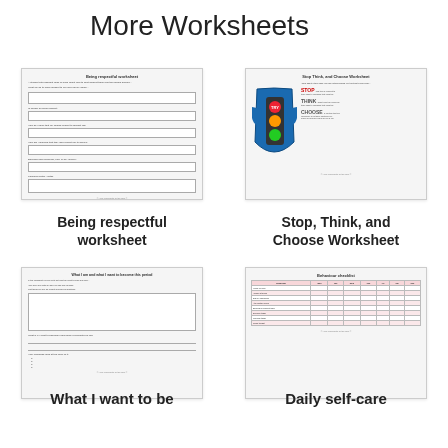More Worksheets
[Figure (illustration): Thumbnail preview of 'Being respectful worksheet' showing form fields and boxes]
[Figure (illustration): Thumbnail preview of 'Stop, Think, and Choose Worksheet' showing traffic light graphic with STOP, THINK, CHOOSE labels]
Being respectful worksheet
Stop, Think, and Choose Worksheet
[Figure (illustration): Thumbnail preview of 'What I want to be' worksheet with text boxes and bullet list]
[Figure (illustration): Thumbnail preview of 'Daily self care' / Behaviour checklist with pink-tinted table]
What I want to be
Daily self-care